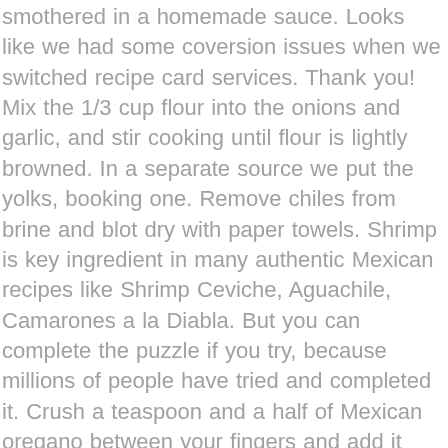smothered in a homemade sauce. Looks like we had some coversion issues when we switched recipe card services. Thank you! Mix the 1/3 cup flour into the onions and garlic, and stir cooking until flour is lightly browned. In a separate source we put the yolks, booking one. Remove chiles from brine and blot dry with paper towels. Shrimp is key ingredient in many authentic Mexican recipes like Shrimp Ceviche, Aguachile, Camarones a la Diabla. But you can complete the puzzle if you try, because millions of people have tried and completed it. Crush a teaspoon and a half of Mexican oregano between your fingers and add it along with a pinch of ground cinnamon, a pinch of ground cloves, and a bay leaf. If you have any tears in your chile, overlap those as well. This Chiles rellenos recipe is one of my favorite meals. In any traditional Hispanic household a Chile Relleno dish could be smelled throughout the house. Beat the egg whites with an electric beater until the whites fluff up. . The making of this dish is quite simple and uses basic ingredients. Add the flour and stir to coat the cooked